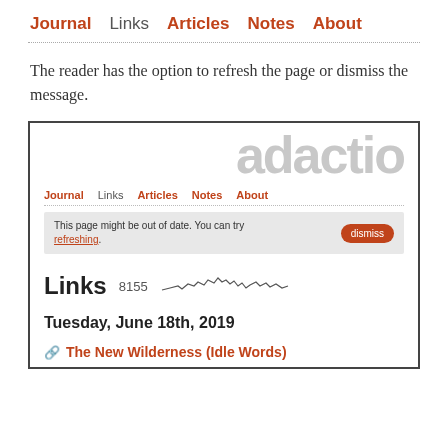Journal  Links  Articles  Notes  About
The reader has the option to refresh the page or dismiss the message.
[Figure (screenshot): Screenshot of adactio.com website showing the navigation (Journal, Links, Articles, Notes, About), a notification banner saying 'This page might be out of date. You can try refreshing.' with a dismiss button, a Links section showing count 8155 with a sparkline chart, a date heading 'Tuesday, June 18th, 2019', and a link titled 'The New Wilderness (Idle Words)']